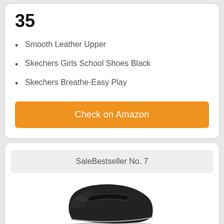35
Smooth Leather Upper
Skechers Girls School Shoes Black
Skechers Breathe-Easy Play
Check on Amazon
SaleBestseller No. 7
[Figure (photo): Black Skechers school shoe photographed from the side, showing velcro strap and flat sole]